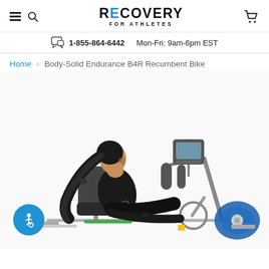RECOVERY FOR ATHLETES — navigation header with hamburger menu, search, logo, and cart icon
1-855-864-6442  Mon-Fri: 9am-6pm EST
Home > Body-Solid Endurance B4R Recumbent Bike
[Figure (photo): Woman with dark hair in ponytail, wearing black athletic wear, sitting on a Body-Solid Endurance B4R recumbent exercise bike. The bike is shown in profile view with a console/monitor visible at the right and blue flywheel cover at the bottom right. An accessibility button is overlaid at the bottom left.]